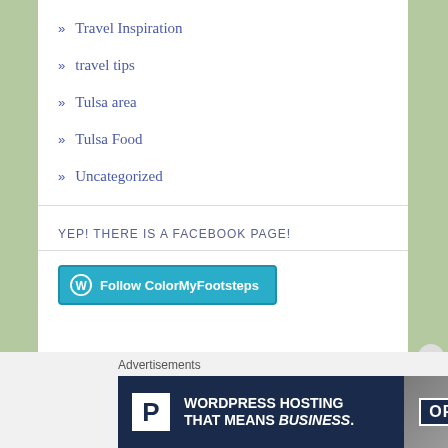» Travel Inspiration
» travel tips
» Tulsa area
» Tulsa Food
» Uncategorized
YEP! THERE IS A FACEBOOK PAGE!
[Figure (other): Follow ColorMyFootsteps button — teal WordPress follow button]
Advertisements
[Figure (other): WordPress Hosting advertisement banner: 'WORDPRESS HOSTING THAT MEANS BUSINESS.' with P logo and OPEN sign image]